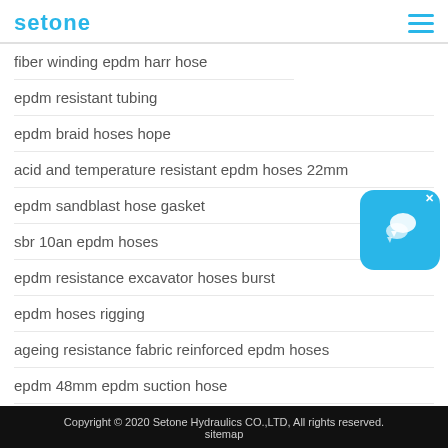setone
fiber winding epdm harr hose
epdm resistant tubing
epdm braid hoses hope
acid and temperature resistant epdm hoses 22mm
epdm sandblast hose gasket
sbr 10an epdm hoses
epdm resistance excavator hoses burst
epdm hoses rigging
ageing resistance fabric reinforced epdm hoses
epdm 48mm epdm suction hose
[Figure (illustration): Chat widget icon — blue rounded square with speech bubble icons]
Copyright © 2020 Setone Hydraulics CO.,LTD, All rights reserved.
sitemap